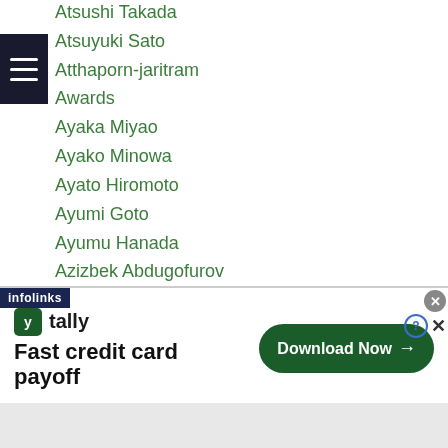Atsushi Takada
Atsuyuki Sato
Atthaporn-jaritram
Awards
Ayaka Miyao
Ayako Minowa
Ayato Hiromoto
Ayumi Goto
Ayumu Hanada
Azizbek Abdugofurov
Azusa Takeda
Bahodir Mamadjonov
Bai Shan Bo
Baishanbo Nasiyiwula
Bakhodir Jalolov
Bakhodur Usmonov
...ar Eyubov
[Figure (screenshot): Tally app advertisement banner: 'Fast credit card payoff' with Download Now button, infolinks label, and close buttons]